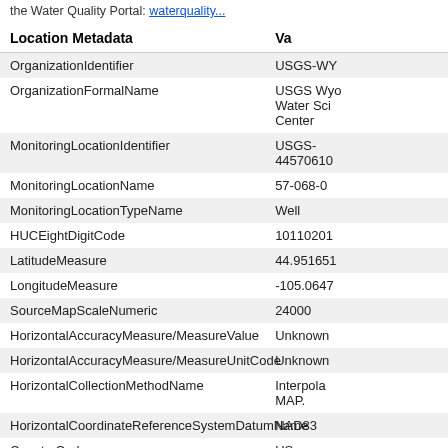the Water Quality Portal: waterquality...
| Location Metadata | Va... |
| --- | --- |
| OrganizationIdentifier | USGS-WY... |
| OrganizationFormalName | USGS Wyoming Water Science Center |
| MonitoringLocationIdentifier | USGS-44570610... |
| MonitoringLocationName | 57-068-0... |
| MonitoringLocationTypeName | Well |
| HUCEightDigitCode | 10110201... |
| LatitudeMeasure | 44.951651... |
| LongitudeMeasure | -105.0647... |
| SourceMapScaleNumeric | 24000 |
| HorizontalAccuracyMeasure/MeasureValue | Unknown... |
| HorizontalAccuracyMeasure/MeasureUnitCode | Unknown... |
| HorizontalCollectionMethodName | Interpolated MAP. |
| HorizontalCoordinateReferenceSystemDatumName | NAD83 |
| CountryCode | US |
| StateCode | 56 |